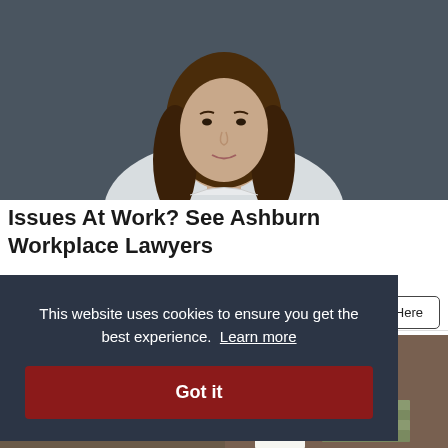[Figure (photo): Professional woman with long brown hair wearing a white blazer, against a dark gray background — lawyer advertisement photo]
Issues At Work? See Ashburn Workplace Lawyers
Workplace Lawyers | Sponsored
[Figure (photo): Office workers at desks with stacks of money/cash visible — financial or legal advertisement photo]
This website uses cookies to ensure you get the best experience. Learn more
Got it